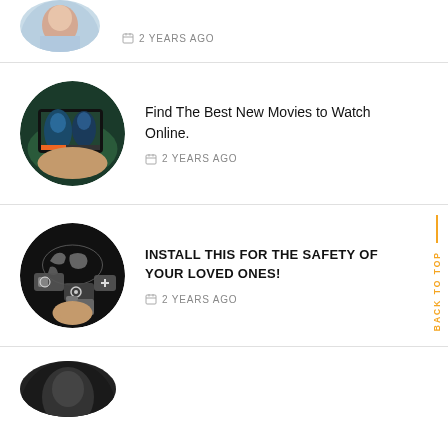[Figure (photo): Partial circular thumbnail at top of page, partially cropped]
2 YEARS AGO
[Figure (photo): Circular thumbnail showing person holding tablet displaying Avatar movie]
Find The Best New Movies to Watch Online.
2 YEARS AGO
[Figure (photo): Circular thumbnail showing smartphone with global connectivity icons on dark background]
INSTALL THIS FOR THE SAFETY OF YOUR LOVED ONES!
2 YEARS AGO
BACK TO TOP
[Figure (photo): Partial circular thumbnail at bottom, partially cropped]